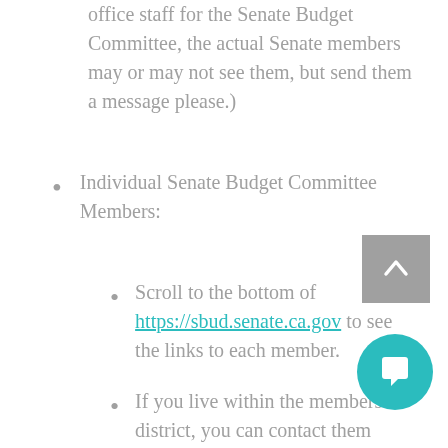office staff for the Senate Budget Committee, the actual Senate members may or may not see them, but send them a message please.)
Individual Senate Budget Committee Members:
Scroll to the bottom of https://sbud.senate.ca.gov to see the links to each member.
If you live within the members district, you can contact them using the web form.
If you DO NOT live within